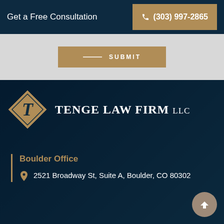Get a Free Consultation
(303) 997-2865
[Figure (other): Submit button with horizontal line decoration]
[Figure (logo): Tenge Law Firm LLC logo with diamond shape containing stylized T initial]
Boulder Office
2521 Broadway St, Suite A, Boulder, CO 80302